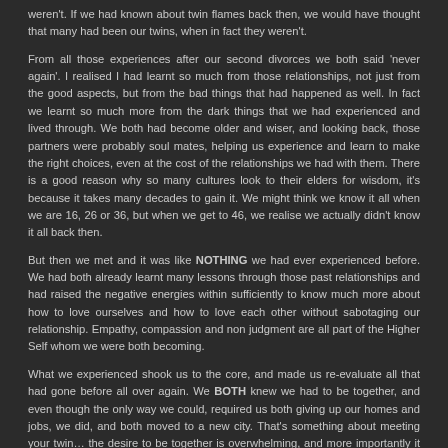weren't. If we had known about twin flames back then, we would have thought that many had been our twins, when in fact they weren't.
From all those experiences after our second divorces we both said 'never again'. I realised I had learnt so much from those relationships, not just from the good aspects, but from the bad things that had happened as well. In fact we learnt so much more from the dark things that we had experienced and lived through. We both had become older and wiser, and looking back, those partners were probably soul mates, helping us experience and learn to make the right choices, even at the cost of the relationships we had with them. There is a good reason why so many cultures look to their elders for wisdom, it's because it takes many decades to gain it. We might think we know it all when we are 16, 26 or 36, but when we get to 46, we realise we actually didn't know it all back then.
But then we met and it was like NOTHING we had ever experienced before. We had both already learnt many lessons through those past relationships and had raised the negative energies within sufficiently to know much more about how to love ourselves and how to love each other without sabotaging our relationship. Empathy, compassion and non judgment are all part of the Higher Self whom we were both becoming.
What we experienced shook us to the core, and made us re-evaluate all that had gone before all over again. We BOTH knew we had to be together, and even though the only way we could, required us both giving up our homes and jobs, we did, and both moved to a new city. That's something about meeting your twin… the desire to be together is overwhelming, and more importantly it was MUTUAL. When you meet your twin it is entirely reciprocated.